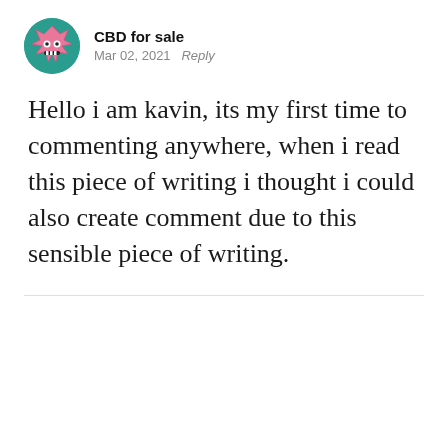CBD for sale — Mar 02, 2021 · Reply
Hello i am kavin, its my first time to commenting anywhere, when i read this piece of writing i thought i could also create comment due to this sensible piece of writing.